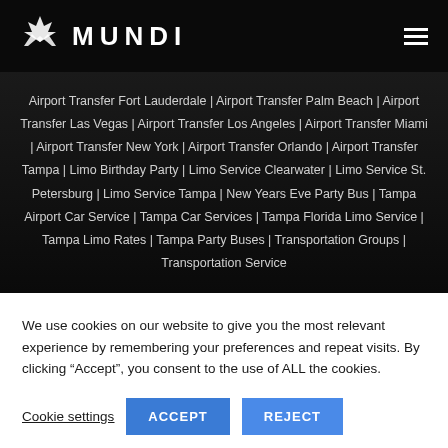MUNDI
Airport Transfer Fort Lauderdale | Airport Transfer Palm Beach | Airport Transfer Las Vegas | Airport Transfer Los Angeles | Airport Transfer Miami | Airport Transfer New York | Airport Transfer Orlando | Airport Transfer Tampa | Limo Birthday Party | Limo Service Clearwater | Limo Service St. Petersburg | Limo Service Tampa | New Years Eve Party Bus | Tampa Airport Car Service | Tampa Car Services | Tampa Florida Limo Service | Tampa Limo Rates | Tampa Party Buses | Transportation Groups | Transportation Service
We use cookies on our website to give you the most relevant experience by remembering your preferences and repeat visits. By clicking “Accept”, you consent to the use of ALL the cookies.
Cookie settings  ACCEPT  REJECT